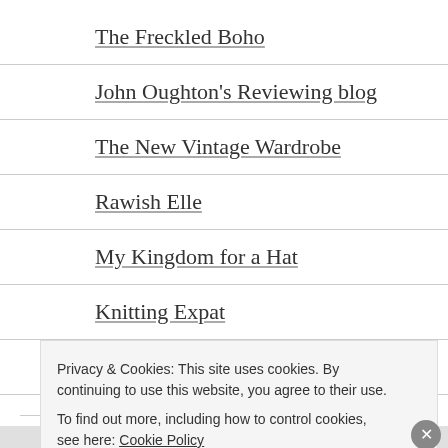The Freckled Boho
John Oughton's Reviewing blog
The New Vintage Wardrobe
Rawish Elle
My Kingdom for a Hat
Knitting Expat
conniesrawsomekitchen
ARCHIVES
Privacy & Cookies: This site uses cookies. By continuing to use this website, you agree to their use.
To find out more, including how to control cookies, see here: Cookie Policy
Close and accept